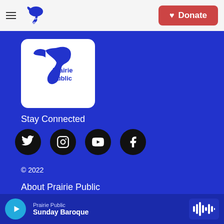[Figure (logo): Prairie Public navigation header with hamburger menu, Prairie Public bird logo, and red Donate button]
[Figure (logo): Prairie Public logo — white rounded rectangle with blue bird figure and 'Prairie Public' text]
Stay Connected
[Figure (infographic): Four social media icon buttons: Twitter, Instagram, YouTube, Facebook — black circles with white icons]
© 2022
About Prairie Public
Contact Us
[Figure (infographic): Audio player bar: cyan play button, station 'Prairie Public', show 'Sunday Baroque', waveform icon on right]